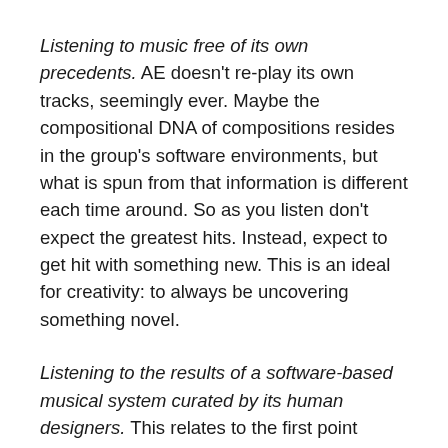Listening to music free of its own precedents. AE doesn't re-play its own tracks, seemingly ever. Maybe the compositional DNA of compositions resides in the group's software environments, but what is spun from that information is different each time around. So as you listen don't expect the greatest hits. Instead, expect to get hit with something new. This is an ideal for creativity: to always be uncovering something novel.
Listening to the results of a software-based musical system curated by its human designers. This relates to the first point above about music being free of musical clichés: AE and their system don't generate songs with verses and choruses, or sequences with build ups and bass drops, but rather layers of sounds and textural counterpoints, intensities and opening ups. The music often sounds suffused with feeling, and I occasionally have chords I've never heard